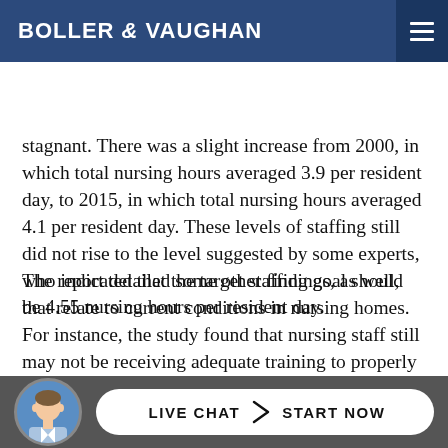BOLLER & VAUGHAN
stagnant. There was a slight increase from 2000, in which total nursing hours averaged 3.9 per resident day, to 2015, in which total nursing hours averaged 4.1 per resident day. These levels of staffing still did not rise to the level suggested by some experts, who indicated that the target staffing goal should be 4.55 nursing hours per resident day.
The report detailed some other findings, as well, that relate to current conditions in nursing homes. For instance, the study found that nursing staff still may not be receiving adequate training to properly care for residents with higher needs, or those with behavioral issues. Although nursing home capacity has remained relatively flat, occupancy rates in nursing homes declined slightly between 2009 and 2015. However, the number of for-profit companies